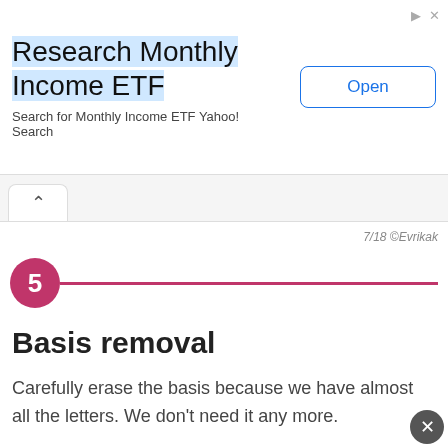[Figure (screenshot): Advertisement banner for 'Research Monthly Income ETF' with Yahoo! Search branding and an 'Open' button]
7/18 ©Evrikak
5
Basis removal
Carefully erase the basis because we have almost all the letters. We don't need it any more.